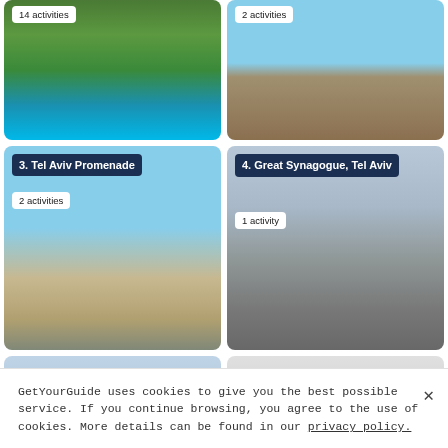[Figure (photo): Waterfall photo with badge showing 14 activities]
[Figure (photo): Boardwalk/promenade photo with badge showing 2 activities]
[Figure (photo): Tel Aviv Promenade beach photo with title '3. Tel Aviv Promenade' and '2 activities']
[Figure (photo): Great Synagogue Tel Aviv photo with title '4. Great Synagogue, Tel Aviv' and '1 activity']
[Figure (photo): Partial bottom-left photo card (cropped)]
[Figure (photo): Partial bottom-right photo card (cropped)]
GetYourGuide uses cookies to give you the best possible service. If you continue browsing, you agree to the use of cookies. More details can be found in our privacy policy.